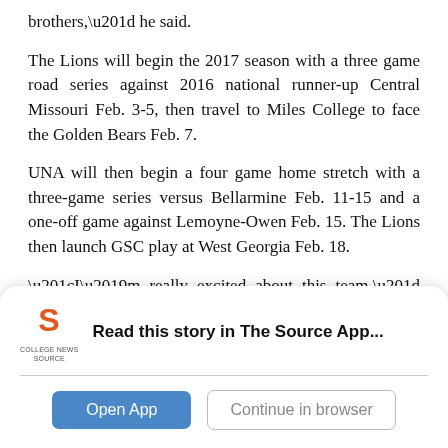brothers,” he said.
The Lions will begin the 2017 season with a three game road series against 2016 national runner-up Central Missouri Feb. 3-5, then travel to Miles College to face the Golden Bears Feb. 7.
UNA will then begin a four game home stretch with a three-game series versus Bellarmine Feb. 11-15 and a one-off game against Lemoyne-Owen Feb. 15. The Lions then launch GSC play at West Georgia Feb. 18.
“I’m really excited about this team,” Keehn said.
[Figure (logo): College News Source app logo and prompt banner with Open App and Continue in browser buttons]